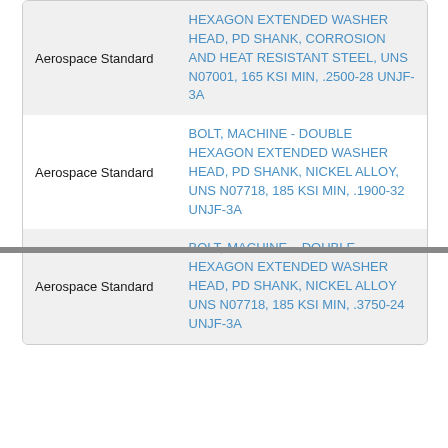| Category | Description |
| --- | --- |
| Aerospace Standard | HEXAGON EXTENDED WASHER HEAD, PD SHANK, CORROSION AND HEAT RESISTANT STEEL, UNS N07001, 165 KSI MIN, .2500-28 UNJF-3A |
| Aerospace Standard | BOLT, MACHINE - DOUBLE HEXAGON EXTENDED WASHER HEAD, PD SHANK, NICKEL ALLOY, UNS N07718, 185 KSI MIN, .1900-32 UNJF-3A |
| Aerospace Standard | BOLT, MACHINE – DOUBLE HEXAGON EXTENDED WASHER HEAD, PD SHANK, NICKEL ALLOY UNS N07718, 185 KSI MIN, .3750-24 UNJF-3A |